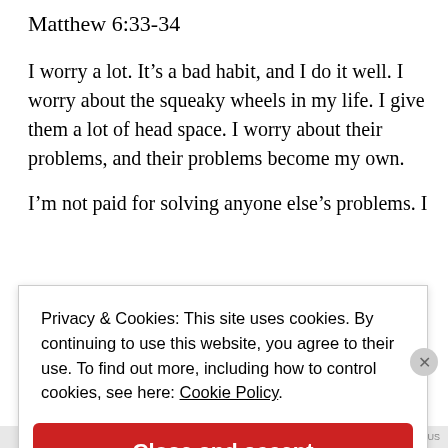Matthew 6:33-34
I worry a lot. It’s a bad habit, and I do it well. I worry about the squeaky wheels in my life. I give them a lot of head space. I worry about their problems, and their problems become my own.
I’m not paid for solving anyone else’s problems. I
Privacy & Cookies: This site uses cookies. By continuing to use this website, you agree to their use. To find out more, including how to control cookies, see here: Cookie Policy
Close and accept